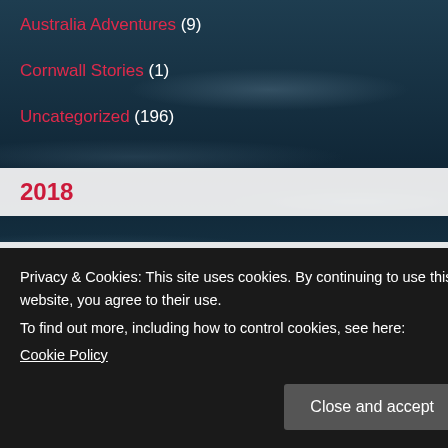Australia Adventures (9)
Cornwall Stories (1)
Uncategorized (196)
2018
2017
Privacy & Cookies: This site uses cookies. By continuing to use this website, you agree to their use.
To find out more, including how to control cookies, see here:
Cookie Policy
Close and accept
2014